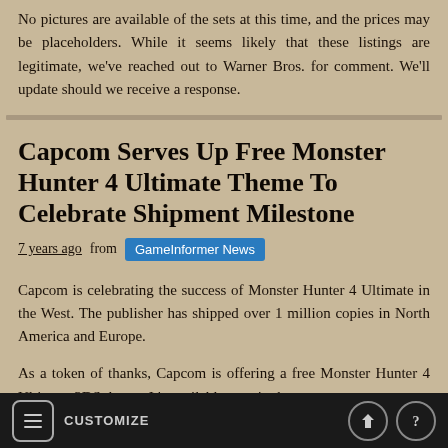No pictures are available of the sets at this time, and the prices may be placeholders. While it seems likely that these listings are legitimate, we've reached out to Warner Bros. for comment. We'll update should we receive a response.
Capcom Serves Up Free Monster Hunter 4 Ultimate Theme To Celebrate Shipment Milestone
7 years ago from GameInformer News
Capcom is celebrating the success of Monster Hunter 4 Ultimate in the West. The publisher has shipped over 1 million copies in North America and Europe.
As a token of thanks, Capcom is offering a free Monster Hunter 4 Ultimate 3DS theme. It's available now in the
CUSTOMIZE